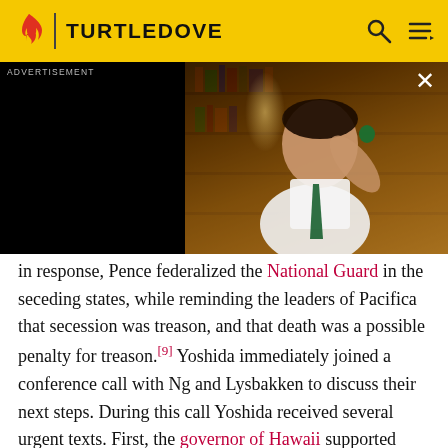TURTLEDOVE
[Figure (photo): Advertisement banner showing a young man in a white shirt and green tie holding up a small green item, seated in a library-like setting with bookshelves in the background. Black panel on left side.]
in response, Pence federalized the National Guard in the seceding states, while reminding the leaders of Pacifica that secession was treason, and that death was a possible penalty for treason.[9] Yoshida immediately joined a conference call with Ng and Lysbakken to discuss their next steps. During this call Yoshida received several urgent texts. First, the governor of Hawaii supported Pacifica, and that Hawaii wanted to secede, but couldn't thanks to the USA's substantial military presence.[10] The